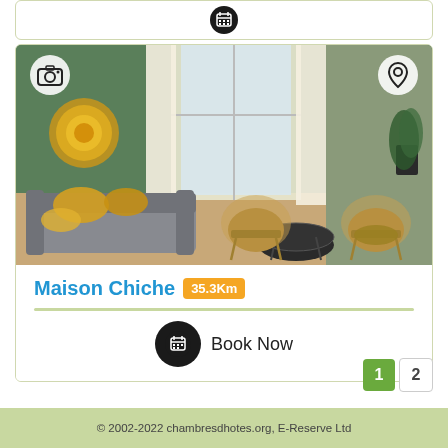[Figure (screenshot): Top card with calendar/booking icon visible at the top of the page]
[Figure (photo): Interior room photo showing a living room with green walls, grey sofa with yellow cushions, two rattan chairs, a small round coffee table, and a large bright window. Camera icon top-left and location pin icon top-right overlaid on the photo.]
Maison Chiche 35.3Km
[Figure (infographic): Book Now button with a dark circular calendar icon followed by 'Book Now' text]
1 2
© 2002-2022 chambresdhotes.org, E-Reserve Ltd